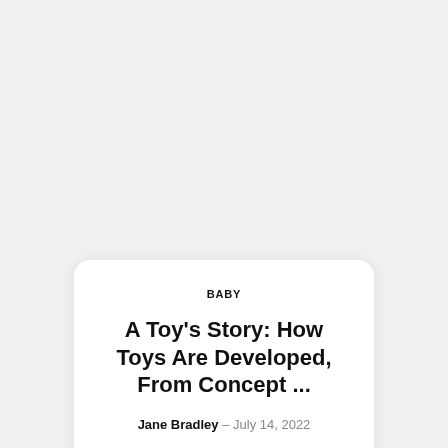BABY
A Toy's Story: How Toys Are Developed, From Concept ...
Jane Bradley – July 14, 2022